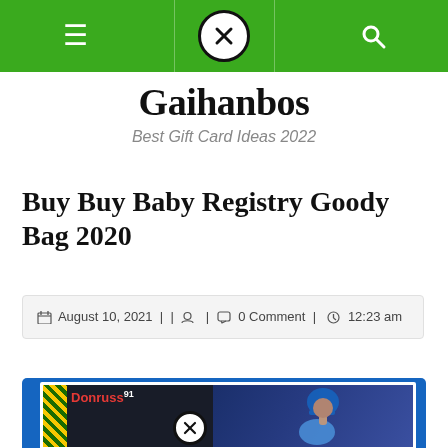Gaihanbos navigation bar with menu and search icons
Gaihanbos
Best Gift Card Ideas 2022
Buy Buy Baby Registry Goody Bag 2020
August 10, 2021 || 0 Comment | 12:23 am
[Figure (photo): Donruss 91 baseball card featuring a Texas Rangers player in a blue cap and uniform, pitching pose, with blue border and yellow decorative left strip]